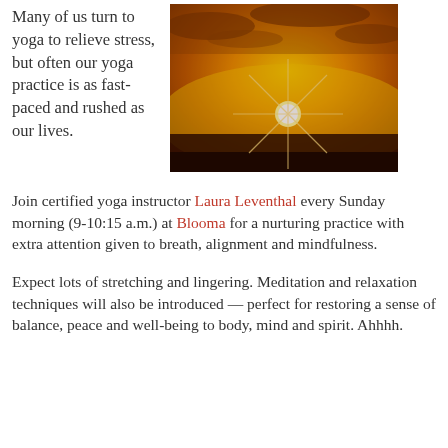Many of us turn to yoga to relieve stress, but often our yoga practice is as fast-paced and rushed as our lives.
[Figure (photo): Sunset photo with bright orange and golden sky, sun with starburst rays visible just above a flat dark horizon line]
Join certified yoga instructor Laura Leventhal every Sunday morning (9-10:15 a.m.) at Blooma for a nurturing practice with extra attention given to breath, alignment and mindfulness.
Expect lots of stretching and lingering. Meditation and relaxation techniques will also be introduced — perfect for restoring a sense of balance, peace and well-being to body, mind and spirit. Ahhhh.